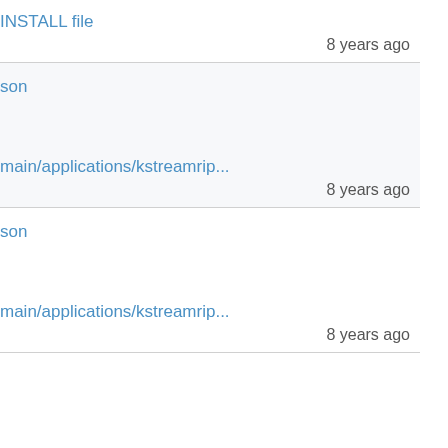INSTALL file
8 years ago
son
main/applications/kstreamrip...
8 years ago
son
main/applications/kstreamrip...
8 years ago